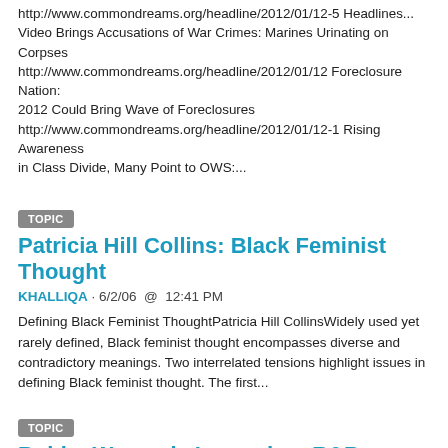http://www.commondreams.org/headline/2012/01/12-5 Headlines... Video Brings Accusations of War Crimes: Marines Urinating on Corpses http://www.commondreams.org/headline/2012/01/12 Foreclosure Nation: 2012 Could Bring Wave of Foreclosures http://www.commondreams.org/headline/2012/01/12-1 Rising Awareness in Class Divide, Many Point to OWS:...
TOPIC
Patricia Hill Collins: Black Feminist Thought
KHALLIQA · 6/2/06 @ 12:41 PM
Defining Black Feminist ThoughtPatricia Hill CollinsWidely used yet rarely defined, Black feminist thought encompasses diverse and contradictory meanings. Two interrelated tensions highlight issues in defining Black feminist thought. The first...
TOPIC
Bobby Womack, Legendary R&B Singer, Dies At 70
KOCOLICIOUS · 6/28/14 @ 10:33 AM
Bobby Womack, Legendary R&B Singer, Dies At 70 | By CHRIS TALBOTT Posted:06/27/2014 8:28 pm EDT Updated:2 hours ago Print Article Bobby